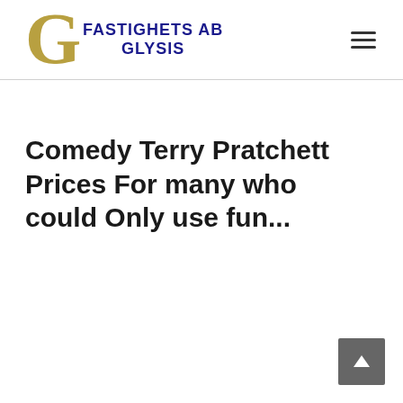FASTIGHETS AB GLYSIS
Comedy Terry Pratchett Prices For many who could Only use fun...